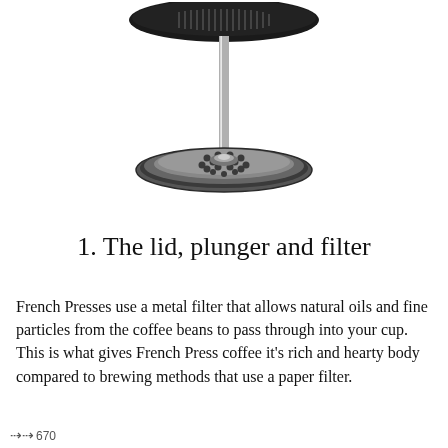[Figure (photo): Close-up photo of a French Press lid, plunger and metal mesh filter disc with serrated edge and central steel rod, shown against white background]
1. The lid, plunger and filter
French Presses use a metal filter that allows natural oils and fine particles from the coffee beans to pass through into your cup. This is what gives French Press coffee it's rich and hearty body compared to brewing methods that use a paper filter.
670